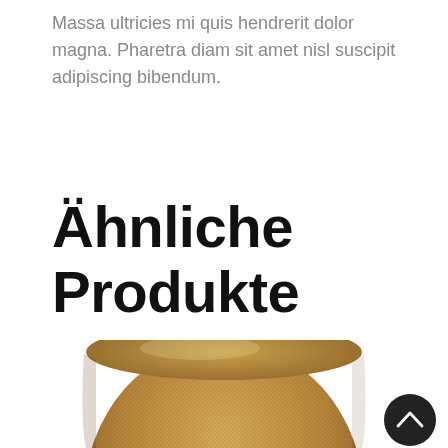Massa ultricies mi quis hendrerit dolor magna. Pharetra diam sit amet nisl suscipit adipiscing bibendum.
Ähnliche Produkte
[Figure (photo): A tan/gold colored cylindrical smart speaker (resembling an Apple HomePod) with a mesh fabric exterior, viewed slightly from above, partially cropped at the bottom of the page. A dark circular scroll-to-top button with a chevron/arrow icon is visible in the bottom right corner.]